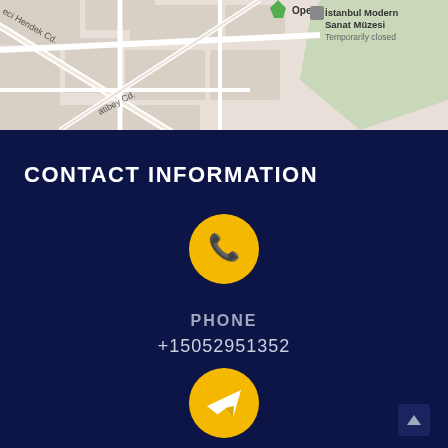[Figure (map): Google Maps partial view showing Istanbul street map with 'Opet' label, 'İstanbul Modern Sanat Müzesi Temporarily closed' label, street names including 'eci Hendek Cd.' and 'atibey Cd.']
CONTACT INFORMATION
[Figure (illustration): Yellow circle icon with white phone handset symbol]
PHONE
+15052951352
[Figure (illustration): Yellow circle icon with white paper airplane / send symbol]
EMAIL
info@cbsedu.us